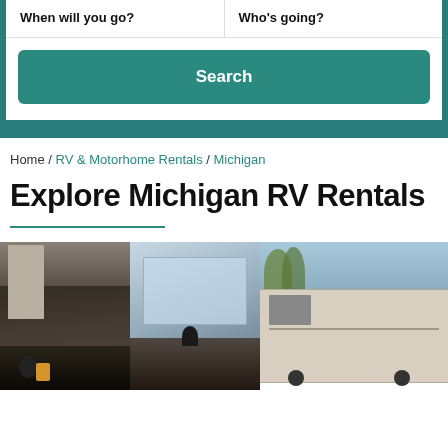When will you go?
Who's going?
Search
Home / RV & Motorhome Rentals / Michigan
Explore Michigan RV Rentals
[Figure (photo): RV van interior showing kitchen area with sink, mug, and kettle on left; seating/living area with window view on right]
[Figure (photo): Exterior of a travel trailer RV parked outdoors with trees in background]